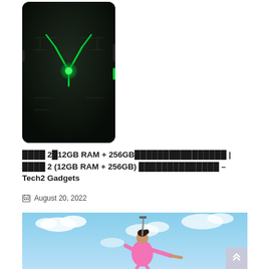[Figure (photo): Back of a black gaming smartphone (Black Shark 2) with a glowing green angular logo on a dark textured surface]
⬛⬛⬛⬛ 2⬛12GB RAM + 256GB⬛⬛⬛⬛⬛⬛⬛⬛⬛⬛⬛⬛⬛⬛⬛⬛ | ⬛⬛⬛⬛ 2 (12GB RAM + 256GB) ⬛⬛⬛⬛⬛⬛⬛⬛⬛⬛⬛⬛⬛⬛ – Tech2 Gadgets
August 20, 2022
[Figure (photo): A girl in a pink dress jumping or flying against a blue sky with clouds, pointing outward]